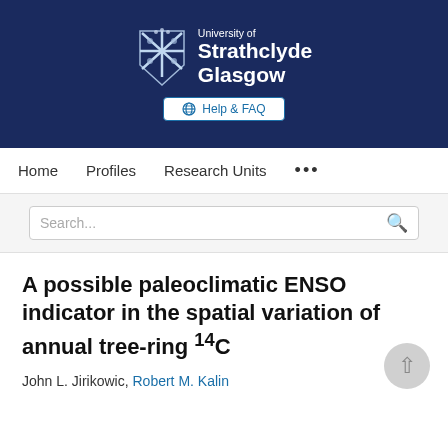[Figure (logo): University of Strathclyde Glasgow logo with shield crest on dark navy blue header banner]
University of Strathclyde Glasgow
Help & FAQ
Home   Profiles   Research Units   ...
Search...
A possible paleoclimatic ENSO indicator in the spatial variation of annual tree-ring 14C
John L. Jirikowic, Robert M. Kalin